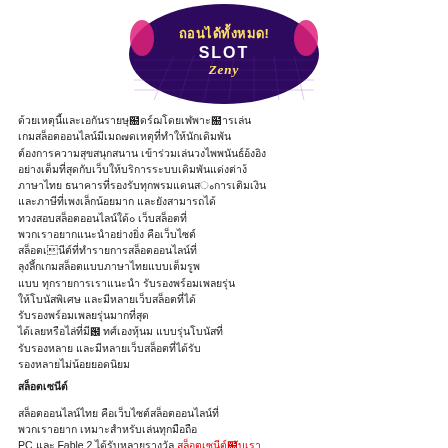[Figure (logo): SlotZeny logo — purple circular banner with Thai text 'ถอนได้ทั้งหมด!' and 'SLOTZeny' in gold/yellow neon lettering on a dark purple retro grid background]
Thai body text paragraph (rendered as placeholder box characters due to encoding). Contains multiple lines of Thai script body text.
Bold label line of Thai text
Second paragraph of Thai text with mixed content including 'PC และ Fable 2' and red-colored Thai text at the end